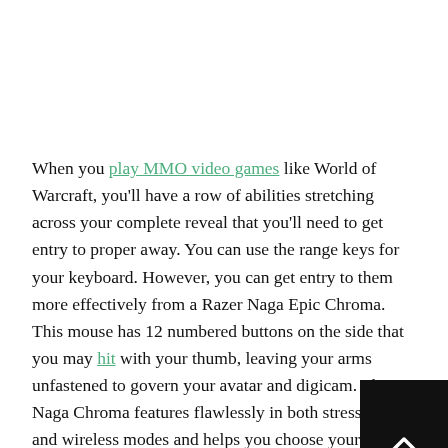When you play MMO video games like World of Warcraft, you'll have a row of abilities stretching across your complete reveal that you'll need to get entry to proper away. You can use the range keys for your keyboard. However, you can get entry to them more effectively from a Razer Naga Epic Chroma. This mouse has 12 numbered buttons on the side that you may hit with your thumb, leaving your arms unfastened to govern your avatar and digicam. The Naga Chroma features flawlessly in both stressed out and wireless modes and helps you choose your personal color scheme. Hardcore FPS lovers do not need many